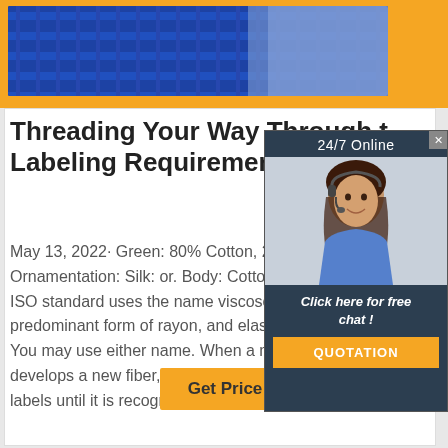[Figure (photo): Blue textured fabric close-up photo in orange banner at top of page]
Threading Your Way Through the Labeling Requirements Under
May 13, 2022· Green: 80% Cotton, 20% Nylon… Ornamentation: Silk: or. Body: Cotton … For … ISO standard uses the name viscose for the predominant form of rayon, and elastane … You may use either name. When a manufacturer develops a new fiber, the name may not be on labels until it is recognized by the Commission. …
[Figure (photo): Advertisement overlay: 24/7 Online chat service with woman wearing headset, 'Click here for free chat!' text and QUOTATION button]
Get Price